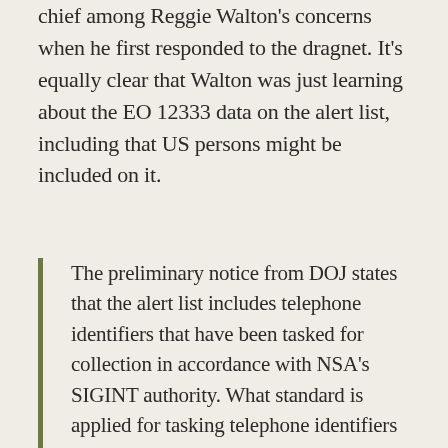chief among Reggie Walton's concerns when he first responded to the dragnet. It's equally clear that Walton was just learning about the EO 12333 data on the alert list, including that US persons might be included on it.
The preliminary notice from DOJ states that the alert list includes telephone identifiers that have been tasked for collection in accordance with NSA's SIGINT authority. What standard is applied for tasking telephone identifiers under NSA's SIGINT authority? Does NSA, pursuant to its SIGINT authority, task telephone identifiers associated with United States persons? If so, does